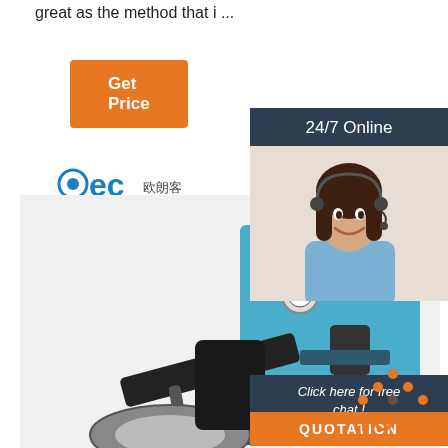great as the method that i ...
Get Price
[Figure (logo): OEC brand logo with Chinese characters and CE, quality, and shield certification icons]
[Figure (photo): Industrial tire changing machine in blue and black color]
[Figure (photo): 24/7 online customer service agent - smiling woman with headset]
Click here for free chat !
QUOTATION
[Figure (illustration): TOP badge with orange dots forming a triangle above the word TOP in orange]